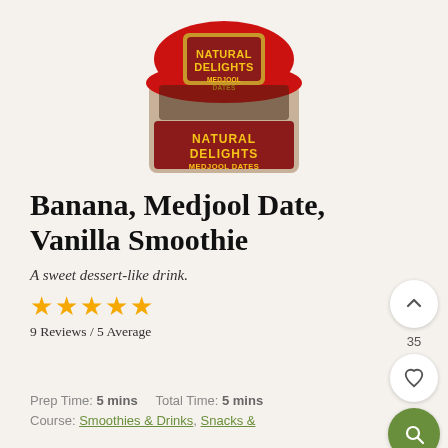[Figure (photo): Container of Natural Delights Medjool Dates product with red lid and label showing 'NATURAL DELIGHTS MEDJOOL DATES']
Banana, Medjool Date, Vanilla Smoothie
A sweet dessert-like drink.
★★★★★
9 Reviews / 5 Average
Prep Time: 5 mins   Total Time: 5 mins
Course: Smoothies & Drinks, Snacks &